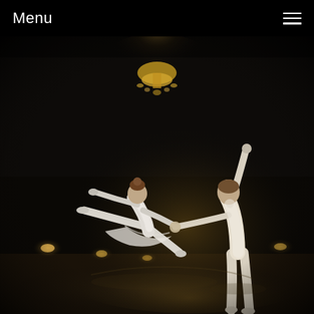Menu
[Figure (photo): Two ballet dancers performing on a dark stage. A ballerina in a white costume leaps dramatically with arms outstretched and legs split wide, held by a male dancer in white attire who stands with one arm raised. A crystal chandelier glows in the background above them, with stage lights visible in the lower background. The floor reflects the scene.]